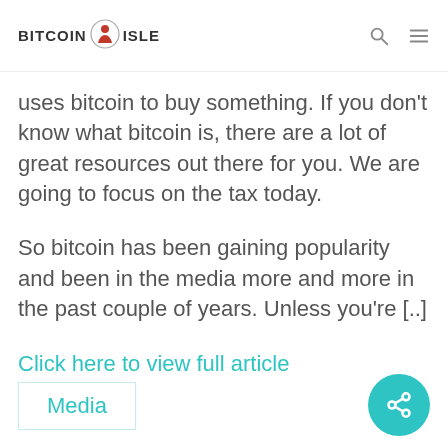BITCOIN ISLE
uses bitcoin to buy something. If you don't know what bitcoin is, there are a lot of great resources out there for you. We are going to focus on the tax today.
So bitcoin has been gaining popularity and been in the media more and more in the past couple of years. Unless you're [..]
Click here to view full article
Media